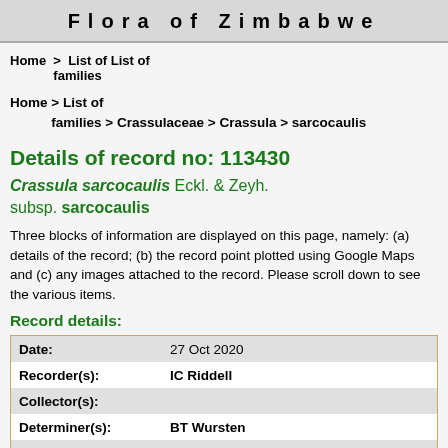Flora of Zimbabwe
Home > List of families > Crassulaceae > Crassula > sarcocaulis
Details of record no: 113430
Crassula sarcocaulis Eckl. & Zeyh. subsp. sarcocaulis
Three blocks of information are displayed on this page, namely: (a) details of the record; (b) the record point plotted using Google Maps and (c) any images attached to the record. Please scroll down to see the various items.
Record details:
| Field | Value |
| --- | --- |
| Date: | 27 Oct 2020 |
| Recorder(s): | IC Riddell |
| Collector(s): |  |
| Determiner(s): | BT Wursten |
| Confirmer(s): |  |
| Herbarium: |  |